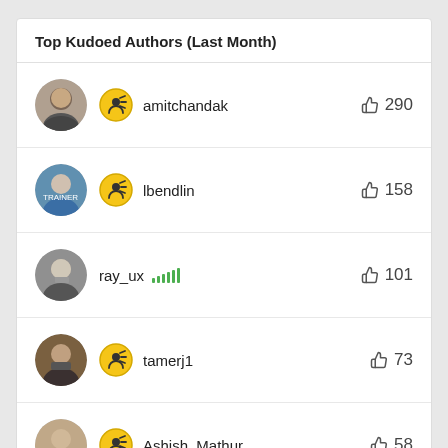Top Kudoed Authors (Last Month)
amitchandak  👍 290
lbendlin  👍 158
ray_ux  👍 101
tamerj1  👍 73
Ashish_Mathur  👍 58
See all >>